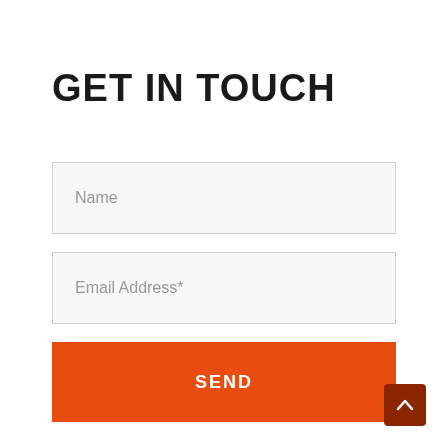GET IN TOUCH
Name
Email Address*
SEND
[Figure (other): Scroll-to-top button with upward chevron arrow, dark brown/red background, rounded corners]